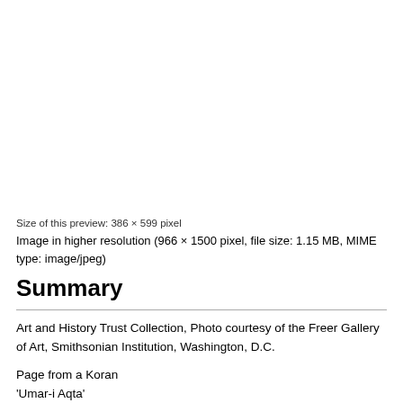Size of this preview: 386 × 599 pixel
Image in higher resolution (966 × 1500 pixel, file size: 1.15 MB, MIME type: image/jpeg)
Summary
Art and History Trust Collection, Photo courtesy of the Freer Gallery of Art, Smithsonian Institution, Washington, D.C.
Page from a Koran
'Umar-i Aqta'